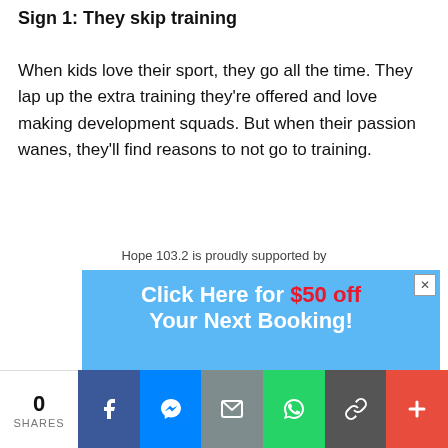Sign 1: They skip training
When kids love their sport, they go all the time. They lap up the extra training they're offered and love making development squads. But when their passion wanes, they'll find reasons to not go to training.
Hope 103.2 is proudly supported by
[Figure (infographic): Advertisement banner for Mr Drains plumbing service. Blue background with white bold text 'Click Here for $50 off Your Next Booking!' with $50 off in red. Lists services: Blocked Drains, Burst Pipes, Hot Water, Gas & Water, Taps and Toilets, Pipe Relining, Camera Inspections. Features Mr Drains logo with cartoon plumber character on right side.]
[Figure (infographic): Social share bar at bottom. Shows 0 SHARES count, then Facebook (blue), Messenger (blue), Email (grey), WhatsApp (green), Link (dark grey), and More (+) (red/orange) buttons.]